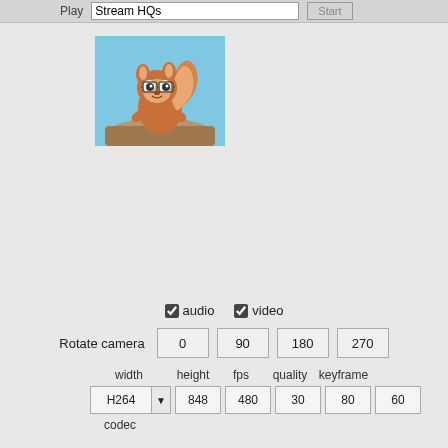[Figure (screenshot): Top UI bar with Play label, Stream HQs text input, and Start button]
[Figure (photo): Thumbnail of an animated squirrel character wearing glasses, on a blue sky background]
audio  video
Rotate camera  0  90  180  270
width  height  fps  quality  keyframe
H264  848  480  30  80  60  codec